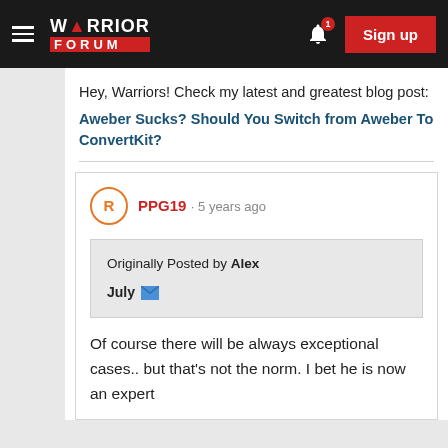[Figure (screenshot): Warrior Forum navigation bar with logo, hamburger menu, bell notification icon with badge '1', and red Sign up button]
Hey, Warriors! Check my latest and greatest blog post:
Aweber Sucks? Should You Switch from Aweber To ConvertKit?
PPG19 · 5 years ago
Originally Posted by Alex
July [mail icon]
Of course there will be always exceptional cases.. but that's not the norm. I bet he is now an expert